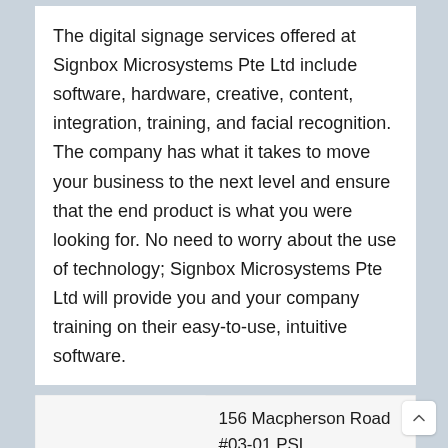The digital signage services offered at Signbox Microsystems Pte Ltd include software, hardware, creative, content, integration, training, and facial recognition. The company has what it takes to move your business to the next level and ensure that the end product is what you were looking for. No need to worry about the use of technology; Signbox Microsystems Pte Ltd will provide you and your company training on their easy-to-use, intuitive software.
156 Macpherson Road #03-01 PSL